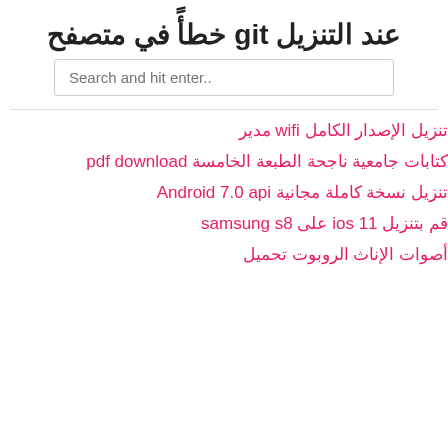عند التنزيل git خطأً في متصفح
Search and hit enter..
تنزيل الإصدار الكامل wifi مدير
كتابات جامعية ناجحة الطبعة الخامسة pdf download
تنزيل نسخة كاملة مجانية Android 7.0 api
قم بتنزيل ios 11 على samsung s8
أصوات الإناث الروبوت تحميل